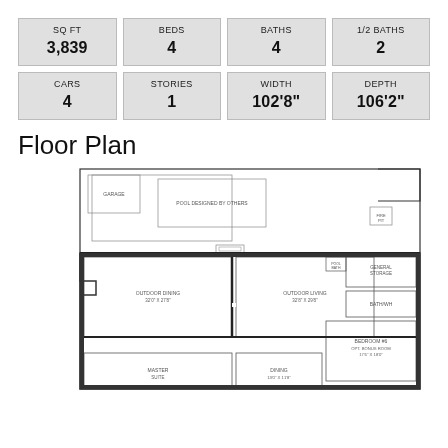| SQ FT | BEDS | BATHS | 1/2 BATHS |
| --- | --- | --- | --- |
| 3,839 | 4 | 4 | 2 |
| CARS | STORIES | WIDTH | DEPTH |
| --- | --- | --- | --- |
| 4 | 1 | 102'8" | 106'2" |
Floor Plan
[Figure (engineering-diagram): Architectural floor plan showing outdoor dining area, outdoor living area, pool designed by others, bedroom, bonus room, master suite, dining room, bathroom, storage, and garage. Single story home with dimensions 102'8" width and 106'2" depth.]